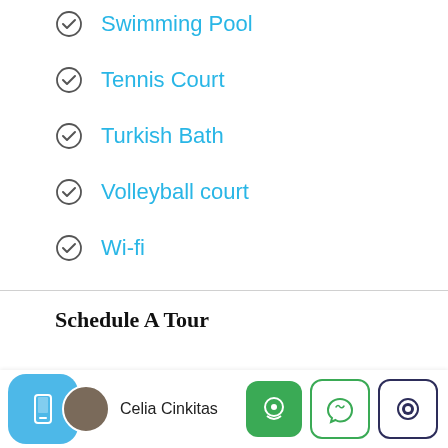Swimming Pool
Tennis Court
Turkish Bath
Volleyball court
Wi-fi
Schedule A Tour
Celia Cinkitas